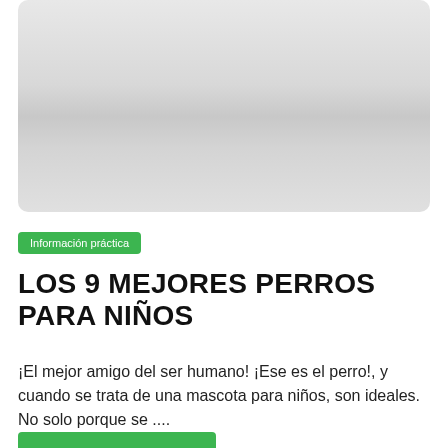[Figure (photo): Placeholder image with light grey gradient background, rounded corners]
Información práctica
LOS 9 MEJORES PERROS PARA NIÑOS
¡El mejor amigo del ser humano! ¡Ese es el perro!, y cuando se trata de una mascota para niños, son ideales. No solo porque se ....